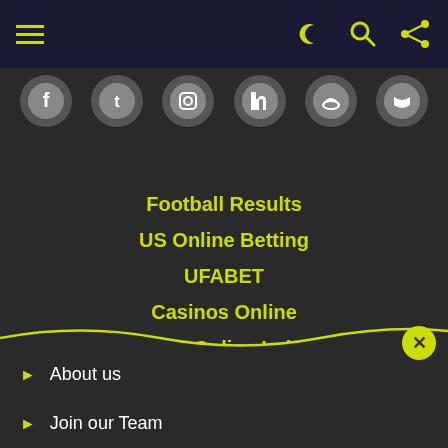[Figure (screenshot): Top navigation bar with hamburger menu (yellow lines) on left and icons (moon, search, share) on right, dark navy background]
[Figure (screenshot): Social media icon bar with 6 circular icons (Facebook, Twitter, Instagram, LinkedIn, and others) on dark background]
Football Results
US Online Betting
UFABET
Casinos Online
Casino Online Ireland
About us
Join our Team
Contact us
[Figure (screenshot): Advertisement banner: Shop Online, Pickup Today - World Market with blue diamond arrow icon]